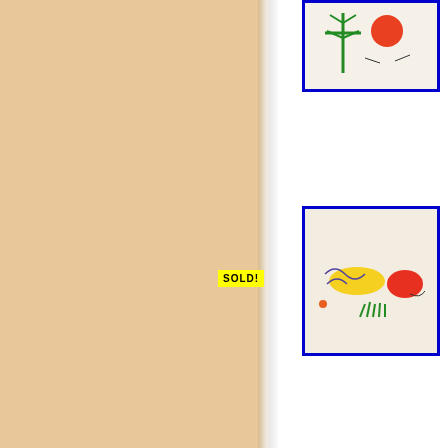[Figure (illustration): Abstract colorful line drawing with green tree/cross shape and orange/red circle on beige background, blue border]
SOLD!
[Figure (illustration): Abstract colorful drawing with yellow, red oval, green grass, and blue/purple scribbles on beige background, blue border]
SOLD!
[Figure (illustration): Abstract drawing with dark scribbles, green plant, purple circle, yellow star on beige background, blue border]
SOLD!
[Figure (illustration): Abstract drawing with figures, green dot, red circle outline on beige background, blue border]